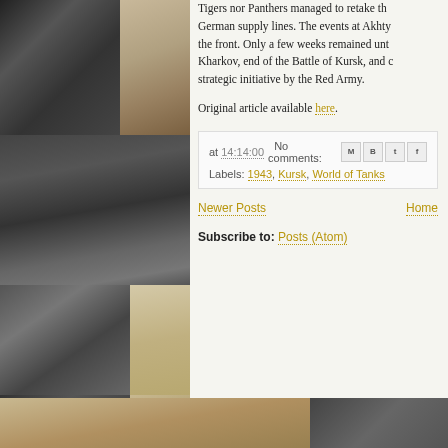[Figure (photo): Collage of WWII black and white tank photographs and military map images arranged in a grid on the left side of the page]
Tigers nor Panthers managed to retake the German supply lines. The events at Akhty the front. Only a few weeks remained unt Kharkov, end of the Battle of Kursk, and c strategic initiative by the Red Army.
Original article available here.
at 14:14:00   No comments:
Labels: 1943, Kursk, World of Tanks
Newer Posts   Home
Subscribe to: Posts (Atom)